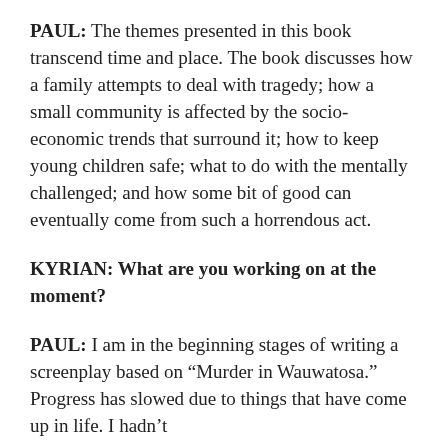PAUL: The themes presented in this book transcend time and place. The book discusses how a family attempts to deal with tragedy; how a small community is affected by the socio-economic trends that surround it; how to keep young children safe; what to do with the mentally challenged; and how some bit of good can eventually come from such a horrendous act.
KYRIAN: What are you working on at the moment?
PAUL: I am in the beginning stages of writing a screenplay based on “Murder in Wauwatosa.” Progress has slowed due to things that have come up in life. I hadn’t